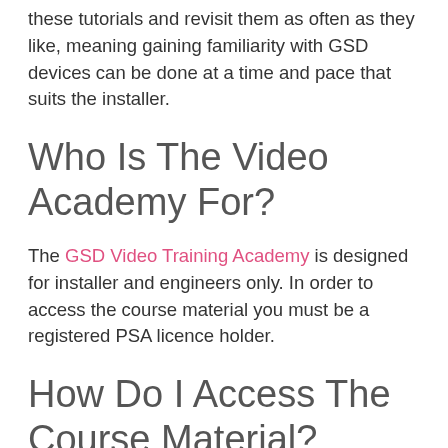these tutorials and revisit them as often as they like, meaning gaining familiarity with GSD devices can be done at a time and pace that suits the installer.
Who Is The Video Academy For?
The GSD Video Training Academy is designed for installer and engineers only. In order to access the course material you must be a registered PSA licence holder.
How Do I Access The Course Material?
Accessing the course material is simple. Fill out the